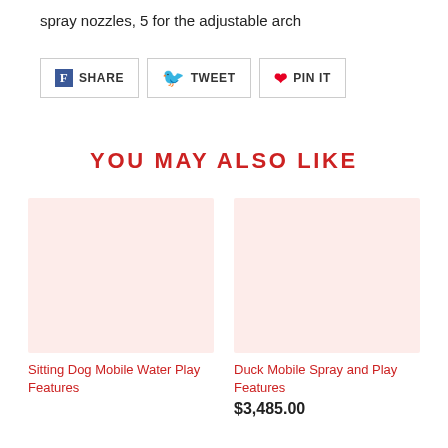spray nozzles, 5 for the adjustable arch
[Figure (other): Social share buttons: Facebook SHARE, Twitter TWEET, Pinterest PIN IT]
YOU MAY ALSO LIKE
[Figure (photo): Product image placeholder for Sitting Dog Mobile Water Play Features - light pink background]
Sitting Dog Mobile Water Play Features
[Figure (photo): Product image placeholder for Duck Mobile Spray and Play Features - light pink background]
Duck Mobile Spray and Play Features
$3,485.00